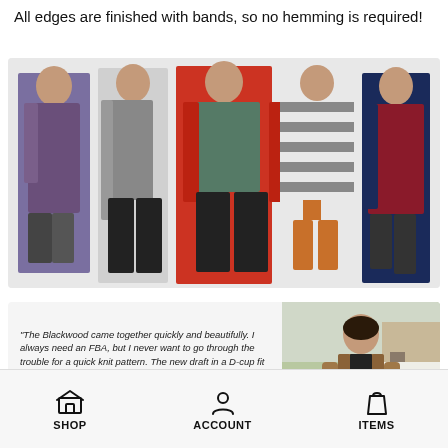All edges are finished with bands, so no hemming is required!
[Figure (photo): Five women modeling different versions of the Blackwood cardigan pattern in various colors including purple, grey, red, striped, and navy. Photos show front and back views on a white background.]
"The Blackwood came together quickly and beautifully. I always need an FBA, but I never want to go through the trouble for a quick knit pattern. The new draft in a D-cup fit perfectly and really makes the difference in the final fit on curvier bodies."
[Figure (photo): Woman wearing a brown/tan Blackwood cardigan outdoors in a snowy winter setting.]
SHOP   ACCOUNT   ITEMS